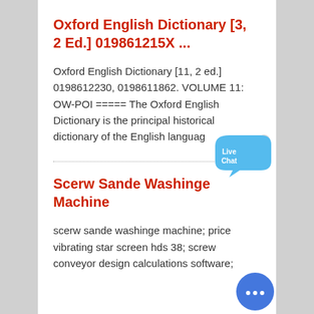Oxford English Dictionary [3, 2 Ed.] 019861215X ...
Oxford English Dictionary [11, 2 ed.] 0198612230, 0198611862. VOLUME 11: OW-POI ===== The Oxford English Dictionary is the principal historical dictionary of the English languag
Scerw Sande Washinge Machine
scerw sande washinge machine; price vibrating star screen hds 38; screw conveyor design calculations software;